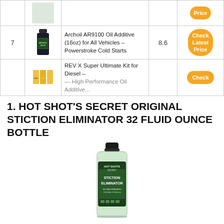| # | Image | Product | Score | Price |
| --- | --- | --- | --- | --- |
|  |  | (product image) |  | Price |
| 7 |  | Archoil AR9100 Oil Additive (16oz) for All Vehicles – Powerstroke Cold Starts | 8.6 | Check Latest Price |
|  |  | REV X Super Ultimate Kit for Diesel – ... |  | Check |
1. HOT SHOT'S SECRET ORIGINAL STICTION ELIMINATOR 32 FLUID OUNCE BOTTLE
[Figure (photo): Bottle of Hot Shot's Secret Stiction Eliminator, green liquid in a clear glass bottle with black cap and green label]
Check Latest Price